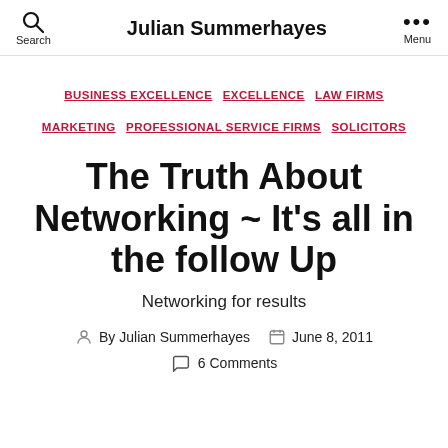Julian Summerhayes
BUSINESS EXCELLENCE  EXCELLENCE  LAW FIRMS  MARKETING  PROFESSIONAL SERVICE FIRMS  SOLICITORS
The Truth About Networking ~ It's all in the follow Up
Networking for results
By Julian Summerhayes   June 8, 2011
6 Comments